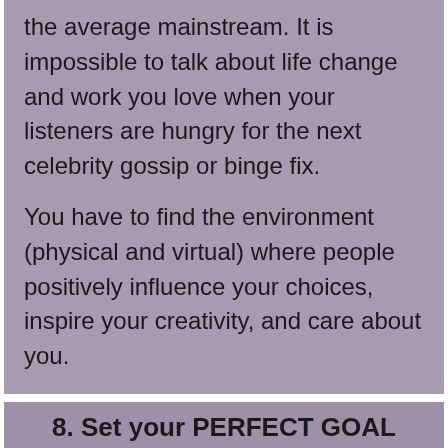the average mainstream. It is impossible to talk about life change and work you love when your listeners are hungry for the next celebrity gossip or binge fix.
You have to find the environment (physical and virtual) where people positively influence your choices, inspire your creativity, and care about you.
8. Set your PERFECT GOAL
Wanting everything now is definitely not